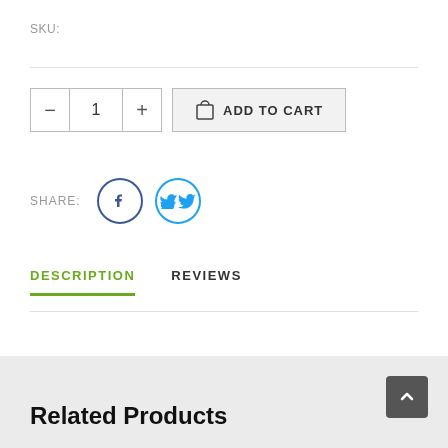SKU:
— 1 + ADD TO CART
SHARE:
DESCRIPTION   REVIEWS
Related Products